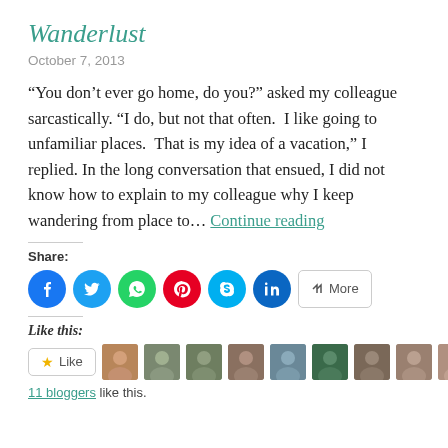Wanderlust
October 7, 2013
“You don’t ever go home, do you?” asked my colleague sarcastically. “I do, but not that often.  I like going to unfamiliar places.  That is my idea of a vacation,” I replied. In the long conversation that ensued, I did not know how to explain to my colleague why I keep wandering from place to… Continue reading
Share:
[Figure (infographic): Social share buttons: Facebook, Twitter, WhatsApp, Pinterest, Skype, LinkedIn, More]
Like this:
[Figure (infographic): Like button and 11 blogger avatars]
11 bloggers like this.